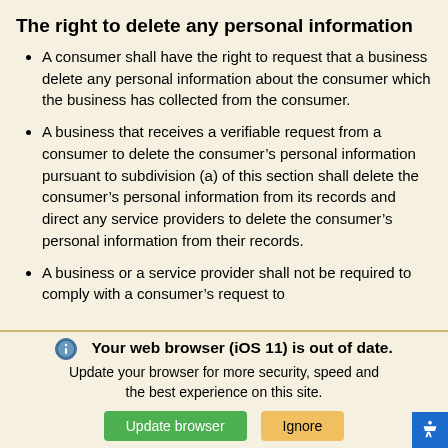The right to delete any personal information
A consumer shall have the right to request that a business delete any personal information about the consumer which the business has collected from the consumer.
A business that receives a verifiable request from a consumer to delete the consumer’s personal information pursuant to subdivision (a) of this section shall delete the consumer’s personal information from its records and direct any service providers to delete the consumer’s personal information from their records.
A business or a service provider shall not be required to comply with a consumer’s request to
Your web browser (iOS 11) is out of date.
Update your browser for more security, speed and the best experience on this site.